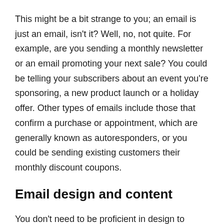This might be a bit strange to you; an email is just an email, isn't it? Well, no, not quite. For example, are you sending a monthly newsletter or an email promoting your next sale? You could be telling your subscribers about an event you're sponsoring, a new product launch or a holiday offer. Other types of emails include those that confirm a purchase or appointment, which are generally known as autoresponders, or you could be sending existing customers their monthly discount coupons.
Email design and content
You don't need to be proficient in design to create an appealing email. The majority of email marketing platforms have a variety of templates as well as drag-and-